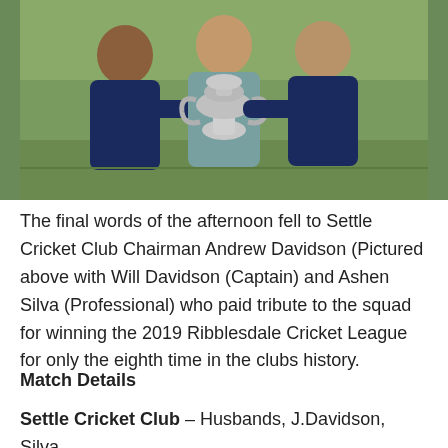[Figure (photo): Three people holding a large silver trophy cup, standing on a cricket ground. Two men and one woman, all wearing dark navy polo shirts.]
The final words of the afternoon fell to Settle Cricket Club Chairman Andrew Davidson (Pictured above with Will Davidson (Captain) and Ashen Silva (Professional) who paid tribute to the squad for winning the 2019 Ribblesdale Cricket League for only the eighth time in the clubs history.
Match Details
Settle Cricket Club – Husbands, J.Davidson, Silva, W.Davidson, Read, Tarbox, Hulse, D.Strickland, Pickles, A.Strickland, Handy.